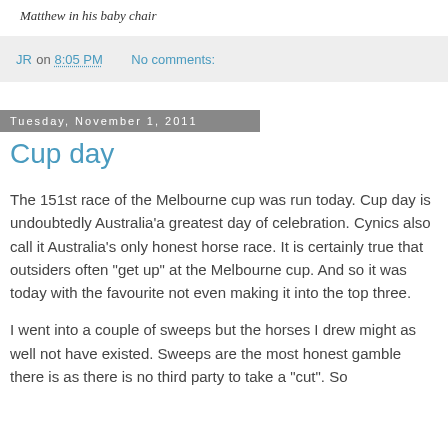Matthew in his baby chair
JR on 8:05 PM   No comments:
Tuesday, November 1, 2011
Cup day
The 151st race of the Melbourne cup was run today. Cup day is undoubtedly Australia'a greatest day of celebration. Cynics also call it Australia's only honest horse race. It is certainly true that outsiders often "get up" at the Melbourne cup. And so it was today with the favourite not even making it into the top three.
I went into a couple of sweeps but the horses I drew might as well not have existed. Sweeps are the most honest gamble there is as there is no third party to take a "cut". So